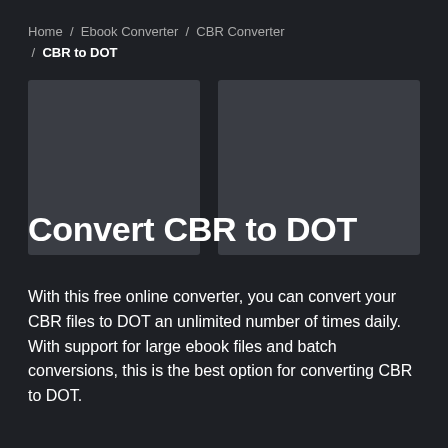Home / Ebook Converter / CBR Converter / CBR to DOT
[Figure (other): Two gray placeholder image boxes side by side]
Convert CBR to DOT
With this free online converter, you can convert your CBR files to DOT an unlimited number of times daily. With support for large ebook files and batch conversions, this is the best option for converting CBR to DOT.